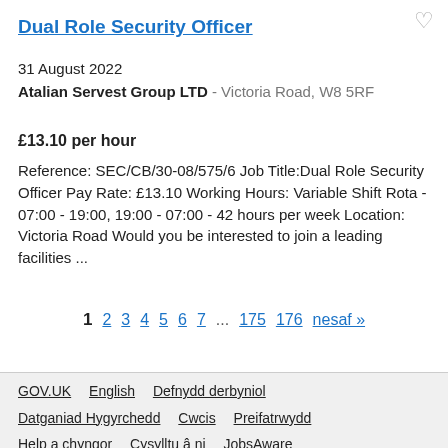Dual Role Security Officer
31 August 2022
Atalian Servest Group LTD - Victoria Road, W8 5RF
£13.10 per hour
Reference: SEC/CB/30-08/575/6 Job Title:Dual Role Security Officer Pay Rate: £13.10 Working Hours: Variable Shift Rota - 07:00 - 19:00, 19:00 - 07:00 - 42 hours per week Location: Victoria Road Would you be interested to join a leading facilities ...
1 2 3 4 5 6 7 ... 175 176 nesaf »
GOV.UK   English   Defnydd derbyniol   Datganiad Hygyrchedd   Cwcis   Preifatrwydd   Help a chyngor   Cysylltu â ni   JobsAware